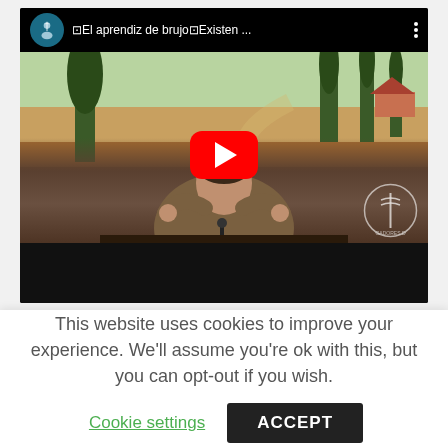[Figure (screenshot): YouTube video thumbnail showing a woman speaker at a podium with a landscape painting in the background. The video title reads '⊡El aprendiz de brujo⊡Existen ...' with a YouTube channel avatar on the left and a three-dot menu on the right. A red YouTube play button is centered over the video frame.]
This website uses cookies to improve your experience. We'll assume you're ok with this, but you can opt-out if you wish.
Cookie settings
ACCEPT